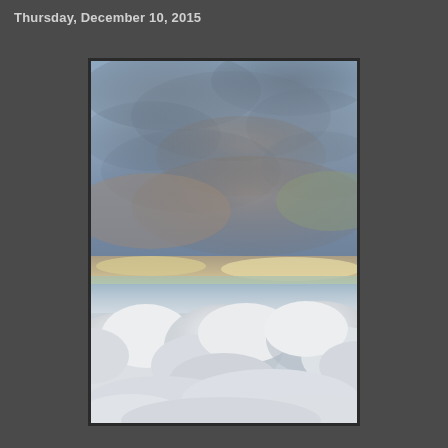Thursday, December 10, 2015
[Figure (photo): Aerial photograph taken from an airplane window showing a sky scene with layered clouds. The upper portion shows dark, moody storm clouds in shades of gray and blue. A bright horizon band of pale yellow and light blue divides the upper cloud layer from a lower layer of puffy white cumulus clouds visible at the bottom of the image.]